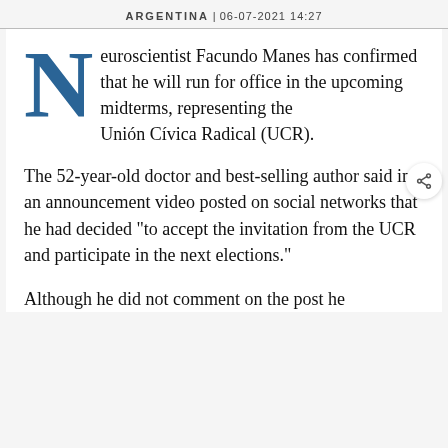ARGENTINA | 06-07-2021 14:27
Neuroscientist Facundo Manes has confirmed that he will run for office in the upcoming midterms, representing the Unión Cívica Radical (UCR).
The 52-year-old doctor and best-selling author said in an announcement video posted on social networks that he had decided "to accept the invitation from the UCR and participate in the next elections."
Although he did not comment on the post he